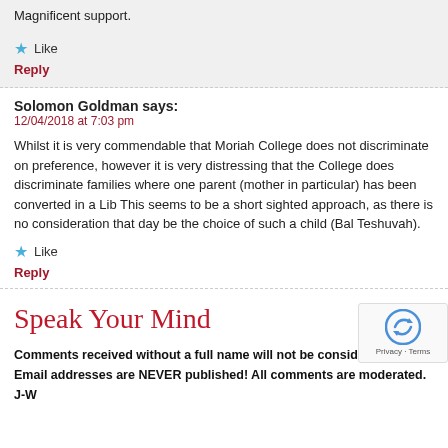Magnificent support.
Like
Reply
Solomon Goldman says:
12/04/2018 at 7:03 pm
Whilst it is very commendable that Moriah College does not discriminate on preference, however it is very distressing that the College does discriminate families where one parent (mother in particular) has been converted in a Lib This seems to be a short sighted approach, as there is no consideration that day be the choice of such a child (Bal Teshuvah).
Like
Reply
Speak Your Mind
Comments received without a full name will not be considered. Email addresses are NEVER published! All comments are moderated. J-W